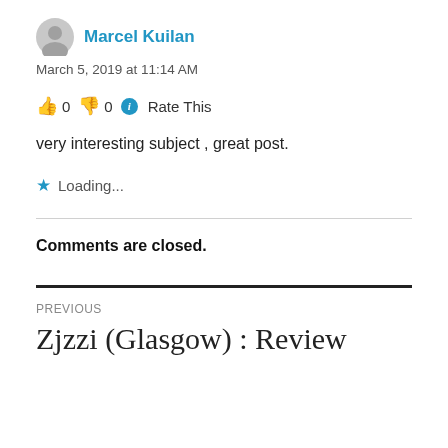Marcel Kuilan
March 5, 2019 at 11:14 AM
👍 0 👎 0 ℹ Rate This
very interesting subject , great post.
★ Loading...
Comments are closed.
PREVIOUS
Zjzzi (Glasgow) : Review